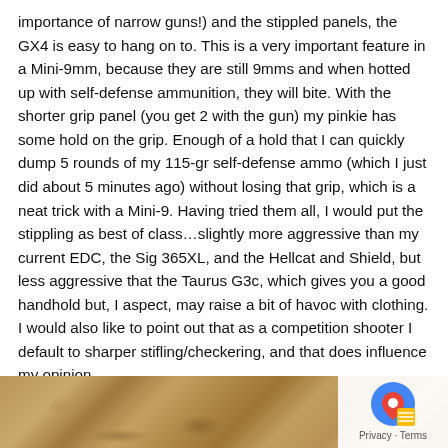importance of narrow guns!) and the stippled panels, the GX4 is easy to hang on to. This is a very important feature in a Mini-9mm, because they are still 9mms and when hotted up with self-defense ammunition, they will bite. With the shorter grip panel (you get 2 with the gun) my pinkie has some hold on the grip. Enough of a hold that I can quickly dump 5 rounds of my 115-gr self-defense ammo (which I just did about 5 minutes ago) without losing that grip, which is a neat trick with a Mini-9. Having tried them all, I would put the stippling as best of class…slightly more aggressive than my current EDC, the Sig 365XL, and the Hellcat and Shield, but less aggressive that the Taurus G3c, which gives you a good handhold but, I aspect, may raise a bit of havoc with clothing. I would also like to point out that as a competition shooter I default to sharper stifling/checkering, and that does influence my opinion.
[Figure (photo): Partial photo of a rocky/gravelly ground surface with sandy beige and brown tones, partially obscured by a privacy/Google overlay button in the bottom right corner.]